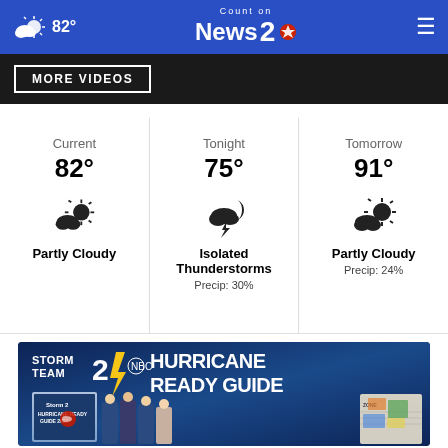Count on News 2 NBC — 82°
MORE VIDEOS
Current 82° Partly Cloudy
Tonight 75° Isolated Thunderstorms Precip: 30%
Tomorrow 91° Partly Cloudy Precip: 24%
[Figure (screenshot): Storm Team 2 Hurricane Ready Guide promotional banner with book covers and news team photos]